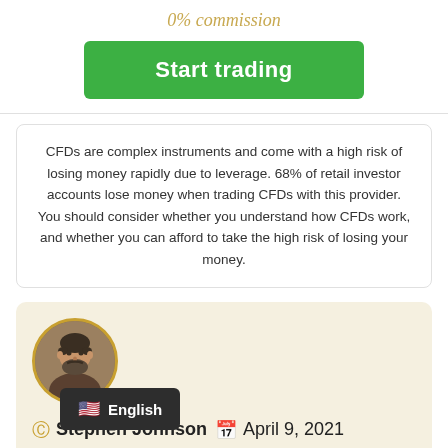0% commission
Start trading
CFDs are complex instruments and come with a high risk of losing money rapidly due to leverage. 68% of retail investor accounts lose money when trading CFDs with this provider. You should consider whether you understand how CFDs work, and whether you can afford to take the high risk of losing your money.
[Figure (photo): Circular avatar photo of a bearded man with a gold/yellow border]
Stephen Johnson   April 9, 2021
nts
English